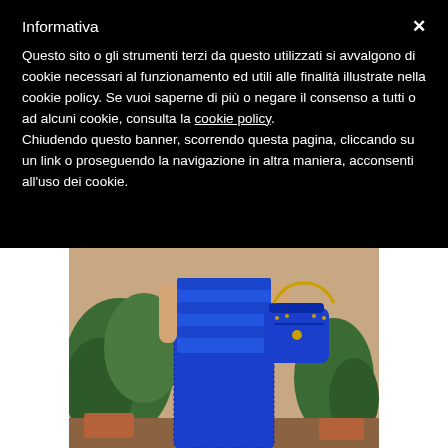Informativa
Questo sito o gli strumenti terzi da questo utilizzati si avvalgono di cookie necessari al funzionamento ed utili alle finalità illustrate nella cookie policy. Se vuoi saperne di più o negare il consenso a tutti o ad alcuni cookie, consulta la cookie policy. Chiudendo questo banner, scorrendo questa pagina, cliccando su un link o proseguendo la navigazione in altra maniera, acconsenti all'uso dei cookie.
[Figure (photo): Fashion photo of a woman wearing a blue ruffled top and blue lace skirt, carrying a blue handbag, with green plants in the background]